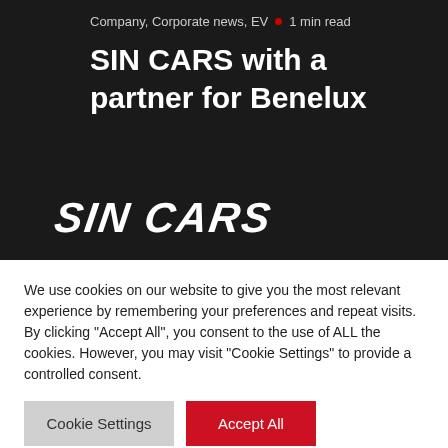Company, Corporate news, EV • 1 min read
SIN CARS with a partner for Benelux
[Figure (logo): SIN CARS logo in bold white italic text on dark background]
We use cookies on our website to give you the most relevant experience by remembering your preferences and repeat visits. By clicking "Accept All", you consent to the use of ALL the cookies. However, you may visit "Cookie Settings" to provide a controlled consent.
Cookie Settings | Accept All